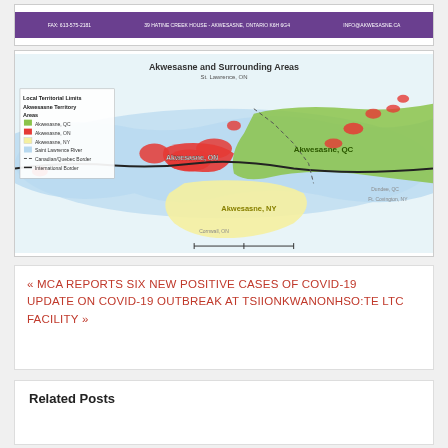[Figure (other): Purple banner with contact information: FAX: 613-575-2181, 39 HATINE CREEK HOUSE - AKWESASNE, ONTARIO K6H 6G4, INFO@AKWESASNE.CA]
[Figure (map): Map titled 'Akwesasne and Surrounding Areas' showing Akwesasne Territory Areas including Akwesasne QC (green), Akwesasne ON (red), Akwesasne NY (yellow), Saint Lawrence River (blue), Canadian/Quebec Border, and International Border. Shows regions labeled Akwesasne ON, Akwesasne QC, and Akwesasne NY.]
« MCA REPORTS SIX NEW POSITIVE CASES OF COVID-19
UPDATE ON COVID-19 OUTBREAK AT TSIIONKWANONHSO:TE LTC FACILITY »
Related Posts